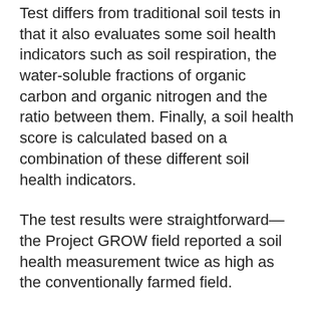Test differs from traditional soil tests in that it also evaluates some soil health indicators such as soil respiration, the water-soluble fractions of organic carbon and organic nitrogen and the ratio between them. Finally, a soil health score is calculated based on a combination of these different soil health indicators.
The test results were straightforward—the Project GROW field reported a soil health measurement twice as high as the conventionally farmed field.
Additionally, measurements of soil respiration and microbially active carbon were more than three times higher in the Project GROW field compared to the conventional field. These numbers reflect the biological activity present in the soil. This is significant, as greater biological